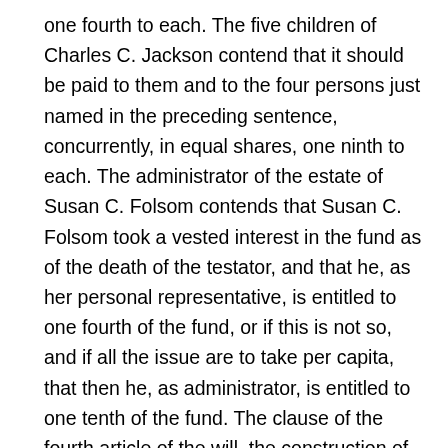one fourth to each. The five children of Charles C. Jackson contend that it should be paid to them and to the four persons just named in the preceding sentence, concurrently, in equal shares, one ninth to each. The administrator of the estate of Susan C. Folsom contends that Susan C. Folsom took a vested interest in the fund as of the death of the testator, and that he, as her personal representative, is entitled to one fourth of the fund, or if this is not so, and if all the issue are to take per capita, that then he, as administrator, is entitled to one tenth of the fund. The clause of the fourth article of the will, the construction of which is in controversy, after a gift to the testator's son, Charles Jackson, proceeds as follows: "And I give to his said wife, Susan, for her life, the sum of ten thousand dollars, to be put in trust, and to be so secured as not to